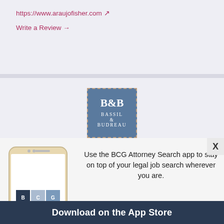https://www.araujofisher.com ↗
Write a Review →
[Figure (logo): B&B Bassil & Budreau law firm logo on steel blue background]
Bassil & Budreau
Tier 3
Overview | Photos (1)
[Figure (screenshot): BCG Attorney Search mobile app advertisement with phone image]
Use the BCG Attorney Search app to stay on top of your legal job search wherever you are.
Download on the App Store